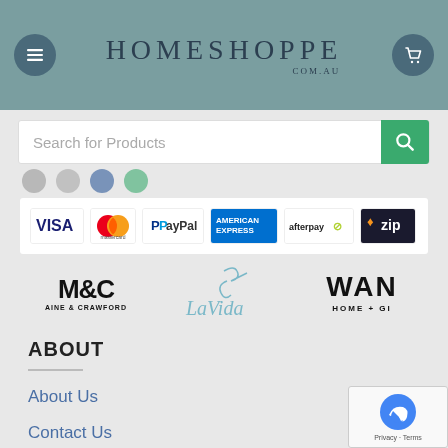[Figure (logo): HomeShoppe.com.au website header with teal background, menu hamburger icon on left, cart icon on right, and HOMESHOPPE COM.AU text logo in center]
Search for Products
[Figure (logo): Payment method logos: VISA, Mastercard, PayPal, American Express, Afterpay, Zip]
[Figure (logo): Brand logos: M&C Aine & Crawford, LaVida, WAN Home + GI]
ABOUT
About Us
Contact Us
Privacy Policy